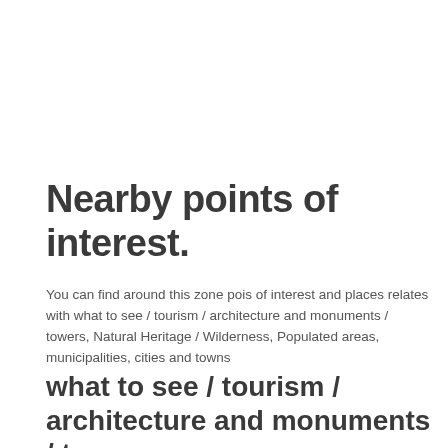Nearby points of interest.
You can find around this zone pois of interest and places relates with what to see / tourism / architecture and monuments / towers, Natural Heritage / Wilderness, Populated areas, municipalities, cities and towns
what to see / tourism / architecture and monuments / towers